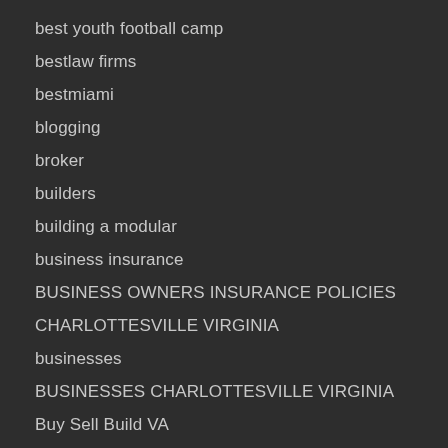best youth football camp
bestlaw firms
bestmiami
blogging
broker
builders
building a modular
business insurance
BUSINESS OWNERS INSURANCE POLICIES
CHARLOTTESVILLE VIRGINIA
businesses
BUSINESSES CHARLOTTESVILLE VIRGINIA
Buy Sell Build VA
Buy Sell Build Virginia
C
c'ville video SEO